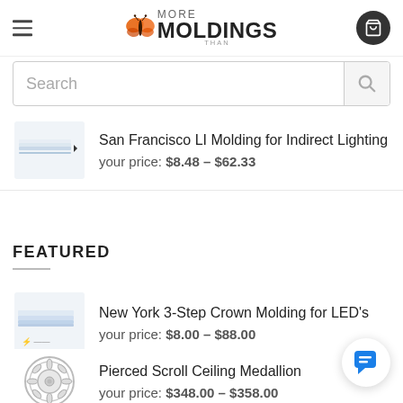[Figure (logo): More Than Moldings logo with butterfly icon]
Search
[Figure (photo): Thumbnail image of San Francisco LI Molding for Indirect Lighting]
San Francisco LI Molding for Indirect Lighting
your price: $8.48 – $62.33
FEATURED
[Figure (photo): Thumbnail image of New York 3-Step Crown Molding for LED's]
New York 3-Step Crown Molding for LED's
your price: $8.00 – $88.00
[Figure (photo): Thumbnail image of Pierced Scroll Ceiling Medallion]
Pierced Scroll Ceiling Medallion
your price: $348.00 – $358.00
New York 3-Step Crown Molding for LED's (partial, cut off at bottom)